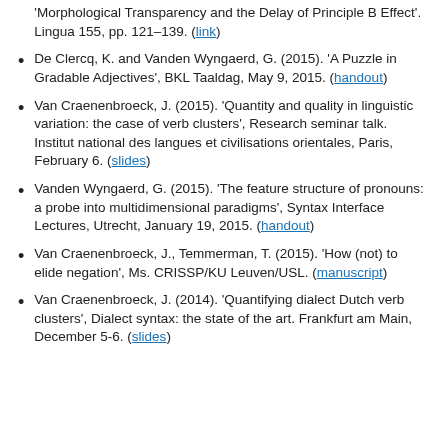'Morphological Transparency and the Delay of Principle B Effect'. Lingua 155, pp. 121–139. (link)
De Clercq, K. and Vanden Wyngaerd, G. (2015). 'A Puzzle in Gradable Adjectives', BKL Taaldag, May 9, 2015. (handout)
Van Craenenbroeck, J. (2015). 'Quantity and quality in linguistic variation: the case of verb clusters', Research seminar talk. Institut national des langues et civilisations orientales, Paris, February 6. (slides)
Vanden Wyngaerd, G. (2015). 'The feature structure of pronouns: a probe into multidimensional paradigms', Syntax Interface Lectures, Utrecht, January 19, 2015. (handout)
Van Craenenbroeck, J., Temmerman, T. (2015). 'How (not) to elide negation', Ms. CRISSP/KU Leuven/USL. (manuscript)
Van Craenenbroeck, J. (2014). 'Quantifying dialect Dutch verb clusters', Dialect syntax: the state of the art. Frankfurt am Main, December 5-6. (slides)